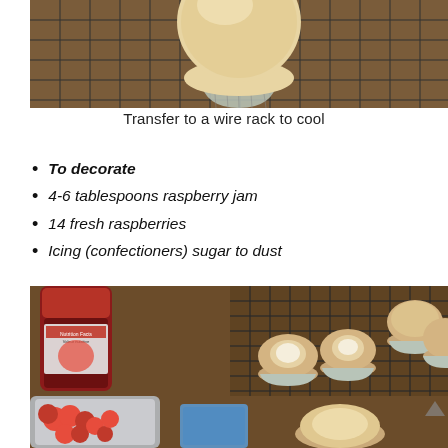[Figure (photo): A single plain cupcake in a striped paper liner sitting on a wire cooling rack on a wooden surface, viewed from above/side.]
Transfer to a wire rack to cool
To decorate
4-6 tablespoons raspberry jam
14 fresh raspberries
Icing (confectioners) sugar to dust
[Figure (photo): Cupcakes with hollowed-out centers on a wire cooling rack, a jar of raspberry jam, a container of fresh raspberries, and a blue measuring device on a wooden surface.]